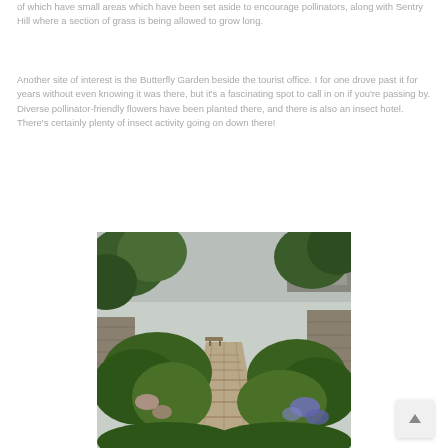of which have small areas which have been set aside to encourage pollinators, along with Sentry Hill where a section of grass is being allowed to grow long.
Another site of interest is the Butterfly Garden beside the tourist office. I for one drove past it for years without even knowing it was there, but it's a fascinating spot to call in on if you're passing by. Diverse pollinator-friendly flowers have been planted there, and there is also an insect hotel. There's certainly plenty of insect activity going on down there!
[Figure (photo): A stone pathway flanked by lush green plants, shrubs and flowering plants (including purple flowers) leading upward through a garden. Stone walls and trees visible in the background with an overcast sky.]